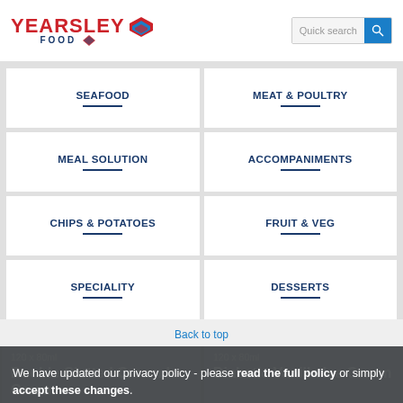[Figure (logo): Yearsley Food logo with red text and diamond graphic]
Quick search
SEAFOOD
MEAT & POULTRY
MEAL SOLUTION
ACCOMPANIMENTS
CHIPS & POTATOES
FRUIT & VEG
SPECIALITY
DESSERTS
Back to top
120 x 80ml
Double Clotted Cream Ice Cream
120 x 80ml
Diabetic Vanilla Ice Cream
We have updated our privacy policy - please read the full policy or simply accept these changes.